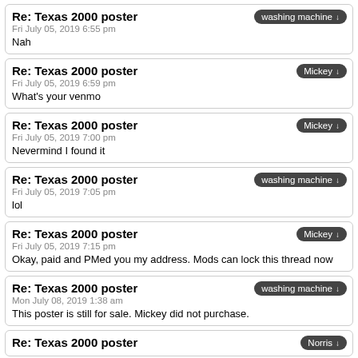Re: Texas 2000 poster
Fri July 05, 2019 6:55 pm
Nah
Re: Texas 2000 poster
Fri July 05, 2019 6:59 pm
What's your venmo
Re: Texas 2000 poster
Fri July 05, 2019 7:00 pm
Nevermind I found it
Re: Texas 2000 poster
Fri July 05, 2019 7:05 pm
lol
Re: Texas 2000 poster
Fri July 05, 2019 7:15 pm
Okay, paid and PMed you my address. Mods can lock this thread now
Re: Texas 2000 poster
Mon July 08, 2019 1:38 am
This poster is still for sale. Mickey did not purchase.
Re: Texas 2000 poster